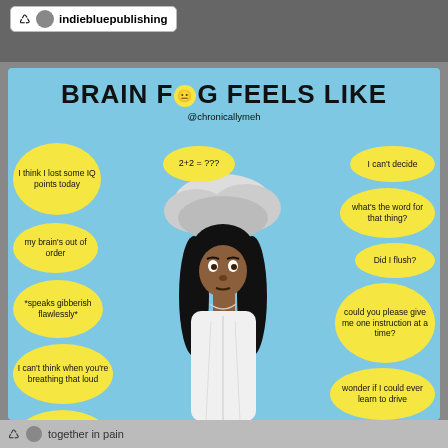indiebluepublishing
[Figure (infographic): Brain fog infographic with illustration of a Black woman with a cloud over her head, surrounded by yellow speech bubbles describing brain fog symptoms. Title: BRAIN FOG FEELS LIKE. Handle: @chronicallymeh. Bubbles include: I think I lost some IQ points today, my brain's out of order, *speaks gibberish flawlessly*, I can't think when you're breathing that loud, 'Honey! you left the remote in the freezer again!', wait! which way is left?, can't imagine can't visualize, 2+2 = ???, wish I could remember why I set this alarm?, I can't decide, what's the word for that thing?, Did I flush?, could you please give me one instruction at a time?, wonder if I could ever learn to drive, what was I saying?, could you please repeat that? sorry, again?, I feel stuck and suffocated]
together in pain